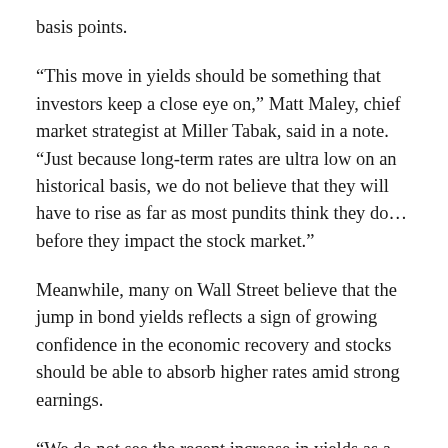basis points.
“This move in yields should be something that investors keep a close eye on,” Matt Maley, chief market strategist at Miller Tabak, said in a note. “Just because long-term rates are ultra low on an historical basis, we do not believe that they will have to rise as far as most pundits think they do… before they impact the stock market.”
Meanwhile, many on Wall Street believe that the jump in bond yields reflects a sign of growing confidence in the economic recovery and stocks should be able to absorb higher rates amid strong earnings.
“We do not see the recent increase in yields as a threat to the bull market,” Keith Lerner, chief market strategist at Truist, said in a note. “Given that we are in the early stages of an economic recovery, monetary and fiscal policy